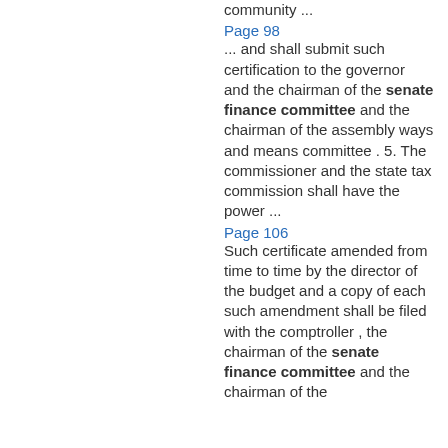community ...
Page 98
... and shall submit such certification to the governor and the chairman of the senate finance committee and the chairman of the assembly ways and means committee . 5. The commissioner and the state tax commission shall have the power ...
Page 106
Such certificate amended from time to time by the director of the budget and a copy of each such amendment shall be filed with the comptroller , the chairman of the senate finance committee and the chairman of the